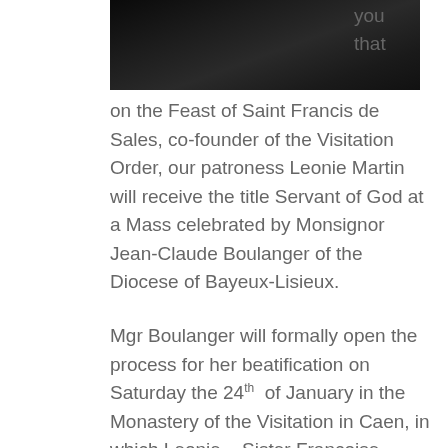[Figure (photo): Dark photograph, partially visible at top of page, showing a dark background with some subtle texture or foliage.]
you that on the Feast of Saint Francis de Sales, co-founder of the Visitation Order, our patroness Leonie Martin will receive the title Servant of God at a Mass celebrated by Monsignor Jean-Claude Boulanger of the Diocese of Bayeux-Lisieux.
Mgr Boulanger will formally open the process for her beatification on Saturday the 24th of January in the Monastery of the Visitation in Caen, in which Leonie – Sister Francoise-Therese – lived from 1899 until her death in 1941.
According to the French news website www.ouest-france.fr, it is also a possibility that Blesseds Louis and Zelie Martin, the parents of Saint Therese, will b...